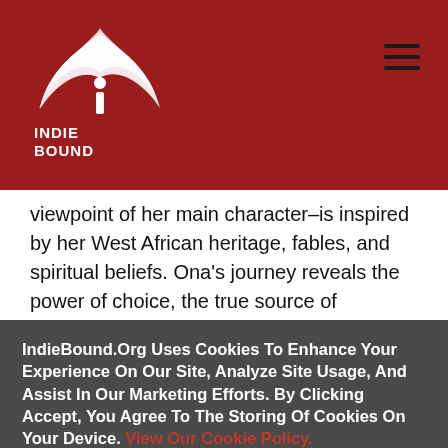IndieBound logo and navigation header
viewpoint of her main character–is inspired by her West African heritage, fables, and spiritual beliefs. Ona's journey reveals the power of choice, the true source of happiness, and, most importantly, the transformation one must go through to realize and eventually occupy their purpose.
IndieBound.Org Uses Cookies To Enhance Your Experience On Our Site, Analyze Site Usage, And Assist In Our Marketing Efforts. By Clicking Accept, You Agree To The Storing Of Cookies On Your Device. View Our Cookie Policy.
Give me more info
Accept all Cookies